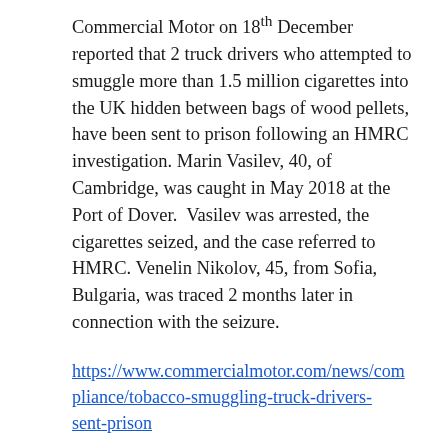Commercial Motor on 18th December reported that 2 truck drivers who attempted to smuggle more than 1.5 million cigarettes into the UK hidden between bags of wood pellets, have been sent to prison following an HMRC investigation. Marin Vasilev, 40, of Cambridge, was caught in May 2018 at the Port of Dover.  Vasilev was arrested, the cigarettes seized, and the case referred to HMRC. Venelin Nikolov, 45, from Sofia, Bulgaria, was traced 2 months later in connection with the seizure.
https://www.commercialmotor.com/news/compliance/tobacco-smuggling-truck-drivers-sent-prison